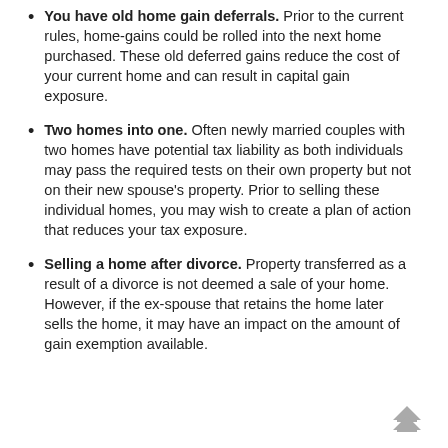You have old home gain deferrals. Prior to the current rules, home-gains could be rolled into the next home purchased. These old deferred gains reduce the cost of your current home and can result in capital gain exposure.
Two homes into one. Often newly married couples with two homes have potential tax liability as both individuals may pass the required tests on their own property but not on their new spouse's property. Prior to selling these individual homes, you may wish to create a plan of action that reduces your tax exposure.
Selling a home after divorce. Property transferred as a result of a divorce is not deemed a sale of your home. However, if the ex-spouse that retains the home later sells the home, it may have an impact on the amount of gain exemption available.